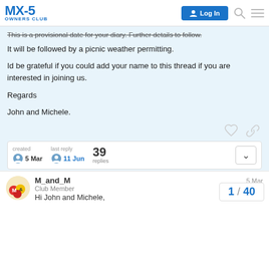MX-5 OWNERS CLUB — Log In
This is a provisional date for your diary. Further details to follow.
It will be followed by a picnic weather permitting.
Id be grateful if you could add your name to this thread if you are interested in joining us.
Regards
John and Michele.
created 5 Mar  last reply 11 Jun  39 replies
M_and_M  Club Member  5 Mar
Hi John and Michele,
1 / 40